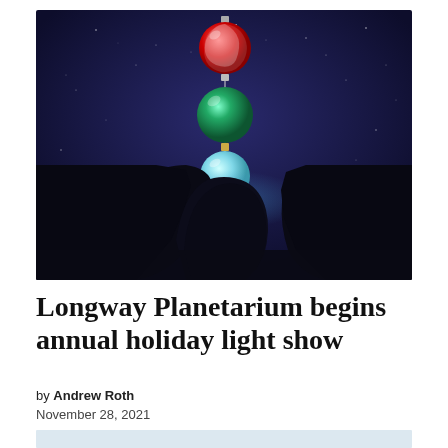[Figure (photo): A planetarium interior view showing silhouettes of audience members' heads at the bottom, with a dark blue starry sky projection above. Three stacked Christmas ornament balls are projected in the center: a red peppermint-swirl ornament at the top, a blue-green ornament in the middle, and a pale aqua/light blue ornament below, connected by a vertical string/wire.]
Longway Planetarium begins annual holiday light show
by Andrew Roth
November 28, 2021